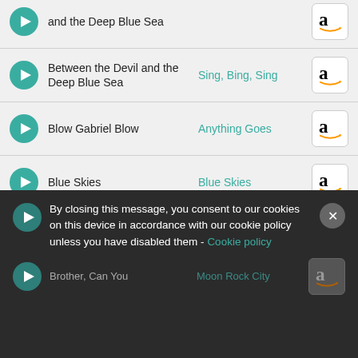Between the Devil and the Deep Blue Sea | Sing, Bing, Sing
Blow Gabriel Blow | Anything Goes
Blue Skies | Blue Skies
Blue Skies | White Christmas
Boo-boo-boo | Too Much Harmony
By closing this message, you consent to our cookies on this device in accordance with our cookie policy unless you have disabled them - Cookie policy
Brother, Can You | Moon Rock City